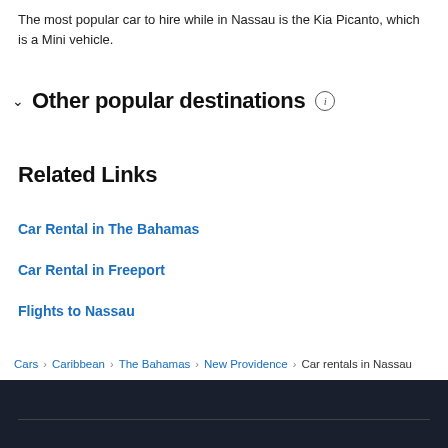The most popular car to hire while in Nassau is the Kia Picanto, which is a Mini vehicle.
Other popular destinations
Related Links
Car Rental in The Bahamas
Car Rental in Freeport
Flights to Nassau
Cars > Caribbean > The Bahamas > New Providence > Car rentals in Nassau